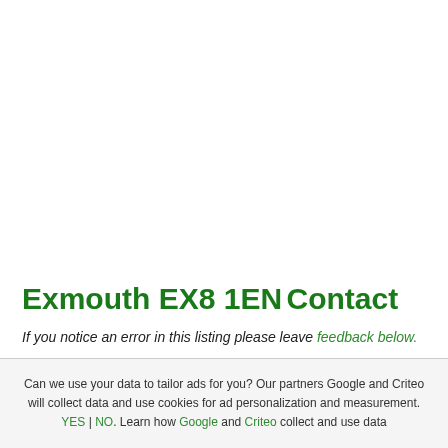Exmouth EX8 1EN
Contact
If you notice an error in this listing please leave feedback below.
Can we use your data to tailor ads for you? Our partners Google and Criteo will collect data and use cookies for ad personalization and measurement. YES | NO. Learn how Google and Criteo collect and use data